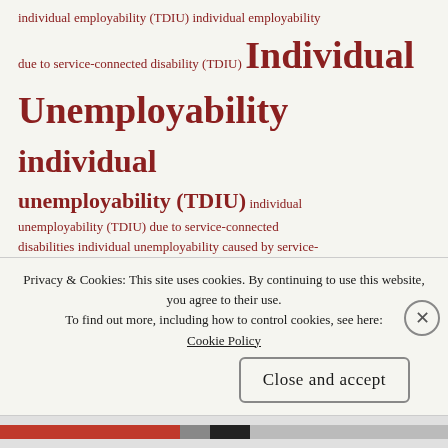individual employability (TDIU) individual employability due to service-connected disability (TDIU) Individual Unemployability individual unemployability (TDIU) individual unemployability (TDIU) due to service-connected disabilities individual unemployability caused by service-connected disabilities (TDIU) individual unemployability due to service-connected disabilities individual unemployability due to service-connected
Privacy & Cookies: This site uses cookies. By continuing to use this website, you agree to their use.
To find out more, including how to control cookies, see here: Cookie Policy
Close and accept